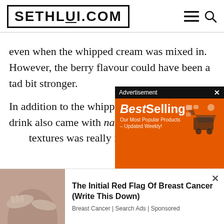SETHLUI.COM
even when the whipped cream was mixed in. However, the berry flavour could have been a tad bit stronger.
In addition to the whipped cr... drink also came with nata de... textures was really interesting...
[Figure (screenshot): AliExpress BestSelling advertisement overlay with orange background]
[Figure (photo): Care Bears themed cafe/shop interior with Care Bears decorations and displays]
[Figure (photo): Bottom advertisement showing a person with text: The Initial Red Flag Of Breast Cancer (Write This Down) - Breast Cancer | Search Ads | Sponsored]